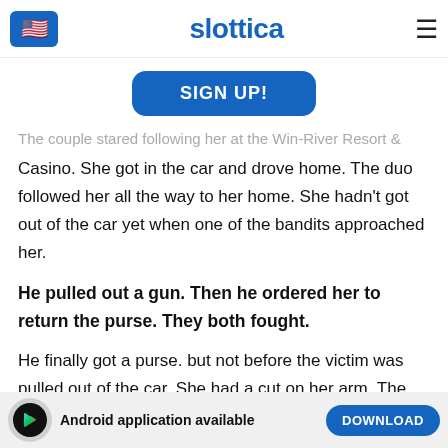[Figure (screenshot): Website navigation bar with US flag icon, Slottica logo in blue, and hamburger menu icon]
[Figure (screenshot): Blue SIGN UP! button on white background]
The couple stared following her at the Win-River Resort &amp; Casino. She got in the car and drove home. The duo followed her all the way to her home. She hadn't got out of the car yet when one of the bandits approached her.
He pulled out a gun. Then he ordered her to return the purse. They both fought.
He finally got a purse. but not before the victim was pulled out of the car. She had a cut on her arm. The suspect then fled to a nearby car. He jumped into the car and the thieves drove off.
[Figure (screenshot): Bottom Android app download bar with Play button icon, Android application available text, and DOWNLOAD button]